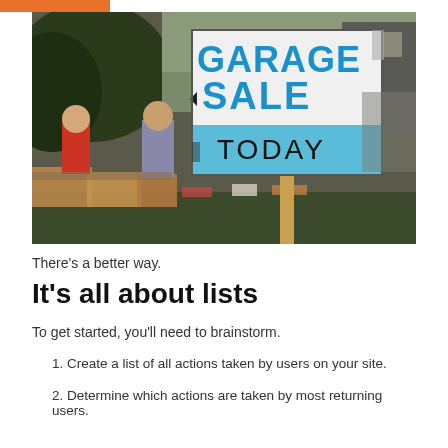[Figure (photo): Outdoor garage sale scene with a large sign reading 'GARAGE SALE TODAY' in blue letters on a white background, with people browsing items and cardboard boxes in the background]
There's a better way.
It's all about lists
To get started, you'll need to brainstorm.
1. Create a list of all actions taken by users on your site.
2. Determine which actions are taken by most returning users.